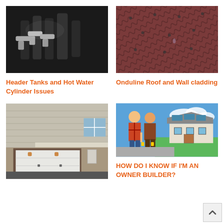[Figure (photo): Black and white photo of plumbing pipes and faucets]
Header Tanks and Hot Water Cylinder Issues
[Figure (photo): Close-up photo of dark red/maroon corrugated roofing material]
Onduline Roof and Wall cladding
[Figure (photo): Photo of a house exterior with an open garage door]
[Figure (photo): Photo of a couple standing in front of a house with solar panels]
HOW DO I KNOW IF I'M AN OWNER BUILDER?